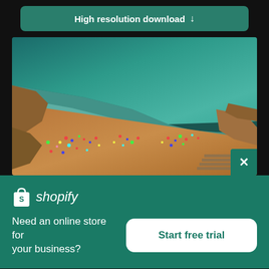High resolution download ↓
[Figure (photo): Aerial drone photo of a crowded beach with turquoise ocean water, sandy shore with beachgoers and colorful umbrellas, and rocky cliffs.]
[Figure (logo): Shopify logo: white shopping bag icon with 'S' and italic text 'shopify']
Need an online store for your business?
Start free trial